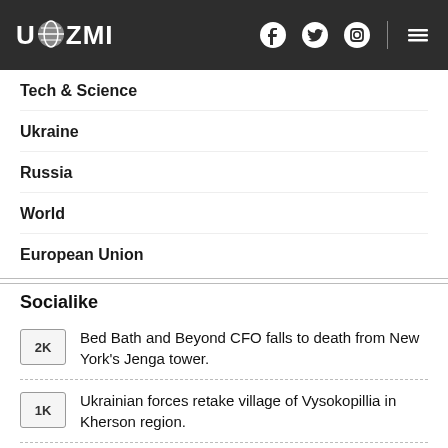UAZMI
Tech & Science
Ukraine
Russia
World
European Union
Socialike
2K  Bed Bath and Beyond CFO falls to death from New York's Jenga tower.
1K  Ukrainian forces retake village of Vysokopillia in Kherson region.
407  Riot erupts in Russian unit in southern Ukraine